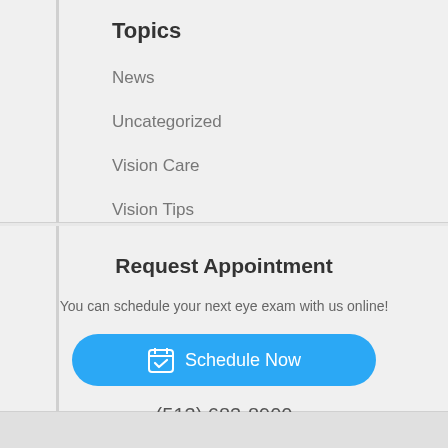Topics
News
Uncategorized
Vision Care
Vision Tips
Request Appointment
You can schedule your next eye exam with us online!
Schedule Now
(513) 683-8900